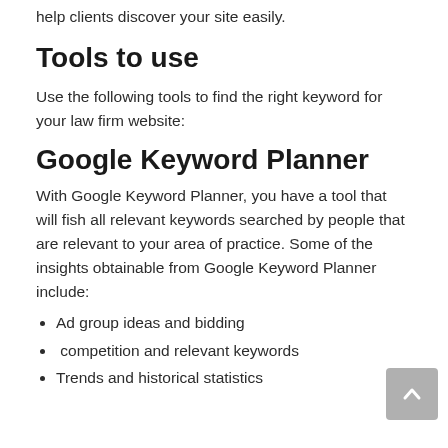help clients discover your site easily.
Tools to use
Use the following tools to find the right keyword for your law firm website:
Google Keyword Planner
With Google Keyword Planner, you have a tool that will fish all relevant keywords searched by people that are relevant to your area of practice. Some of the insights obtainable from Google Keyword Planner include:
Ad group ideas and bidding
competition and relevant keywords
Trends and historical statistics